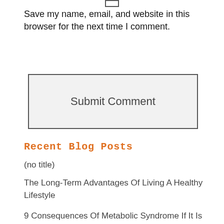Save my name, email, and website in this browser for the next time I comment.
[Figure (other): Submit Comment button — a large rectangular button with light gray background and dark border, labeled 'Submit Comment']
Recent Blog Posts
(no title)
The Long-Term Advantages Of Living A Healthy Lifestyle
9 Consequences Of Metabolic Syndrome If It Is